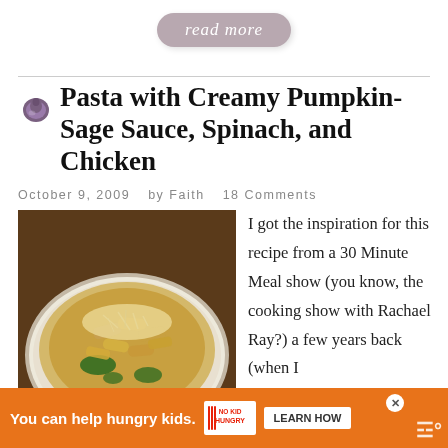read more
Pasta with Creamy Pumpkin-Sage Sauce, Spinach, and Chicken
October 9, 2009   by Faith   18 Comments
[Figure (photo): A white bowl of penne pasta with creamy pumpkin-sage sauce, spinach, chicken, and shredded parmesan on top, served on a wooden table.]
I got the inspiration for this recipe from a 30 Minute Meal show (you know, the cooking show with Rachael Ray?) a few years back (when I used to regularly watch the show). Although I didn't m
You can help hungry kids.   NO KID HUNGRY   LEARN HOW